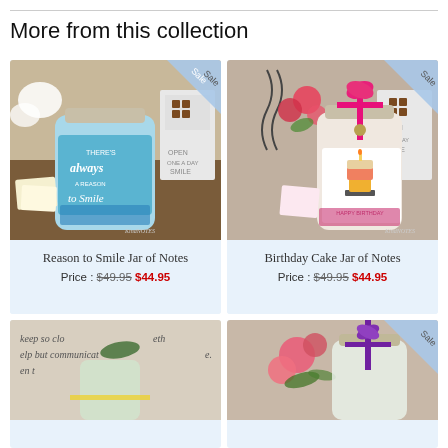More from this collection
[Figure (photo): Jar of Notes product with blue label reading 'There's always a reason to smile', decorated with blue confetti and white flowers, with 'Sale' badge in corner and KindNOTES branding]
Reason to Smile Jar of Notes
Price : $49.95 $44.95
[Figure (photo): Birthday Cake Jar of Notes with pink ribbon bow, white label featuring birthday cake illustration and 'Happy Birthday' text, raspberry-colored filling, with 'Sale' badge and KindNOTES branding]
Birthday Cake Jar of Notes
Price : $49.95 $44.95
[Figure (photo): Partial view of a jar of notes product with handwritten text sign in background reading 'keep so close together, help but communicate, en t' and yellow ribbon]
[Figure (photo): Partial view of a jar of notes product with pink tulip flowers and purple ribbon bow, with 'Sale' badge in corner]